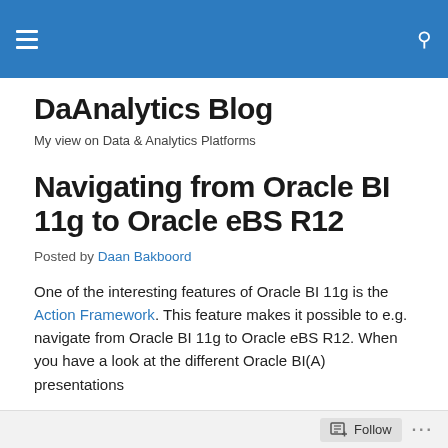DaAnalytics Blog — navigation bar
DaAnalytics Blog
My view on Data & Analytics Platforms
Navigating from Oracle BI 11g to Oracle eBS R12
Posted by Daan Bakboord
One of the interesting features of Oracle BI 11g is the Action Framework. This feature makes it possible to e.g. navigate from Oracle BI 11g to Oracle eBS R12. When you have a look at the different Oracle BI(A) presentations
Follow ...